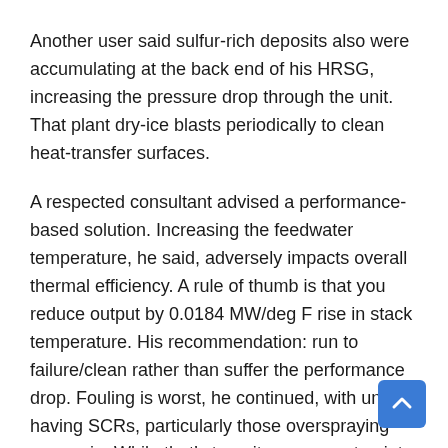Another user said sulfur-rich deposits also were accumulating at the back end of his HRSG, increasing the pressure drop through the unit. That plant dry-ice blasts periodically to clean heat-transfer surfaces.
A respected consultant advised a performance-based solution. Increasing the feedwater temperature, he said, adversely impacts overall thermal efficiency. A rule of thumb is that you reduce output by 0.0184 MW/deg F rise in stack temperature. His recommendation: run to failure/clean rather than suffer the performance drop. Fouling is worst, he continued, with units having SCRs, particularly those overspraying ammonia. While that's true, it was a moot point for most in the room because HRSGs operating in Australia and New Zealand are not equipped with SCRs.
Another consultant suggested analysis of deposits by x-ray diffraction/x-ray fluorescence to accurately determine their